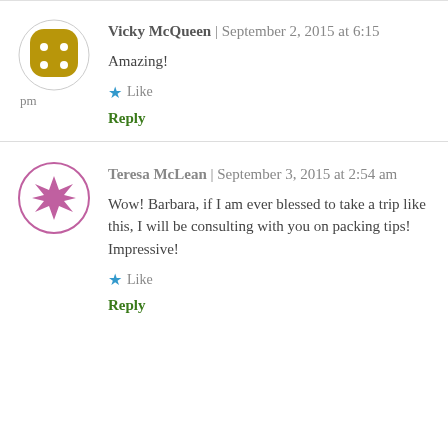Vicky McQueen | September 2, 2015 at 6:15 pm
Amazing!
Like
Reply
Teresa McLean | September 3, 2015 at 2:54 am
Wow! Barbara, if I am ever blessed to take a trip like this, I will be consulting with you on packing tips! Impressive!
Like
Reply